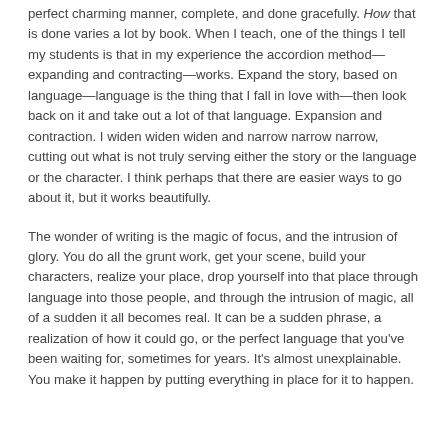perfect charming manner, complete, and done gracefully. How that is done varies a lot by book. When I teach, one of the things I tell my students is that in my experience the accordion method—expanding and contracting—works. Expand the story, based on language—language is the thing that I fall in love with—then look back on it and take out a lot of that language. Expansion and contraction. I widen widen widen and narrow narrow narrow, cutting out what is not truly serving either the story or the language or the character. I think perhaps that there are easier ways to go about it, but it works beautifully.
The wonder of writing is the magic of focus, and the intrusion of glory. You do all the grunt work, get your scene, build your characters, realize your place, drop yourself into that place through language into those people, and through the intrusion of magic, all of a sudden it all becomes real. It can be a sudden phrase, a realization of how it could go, or the perfect language that you've been waiting for, sometimes for years. It's almost unexplainable. You make it happen by putting everything in place for it to happen.